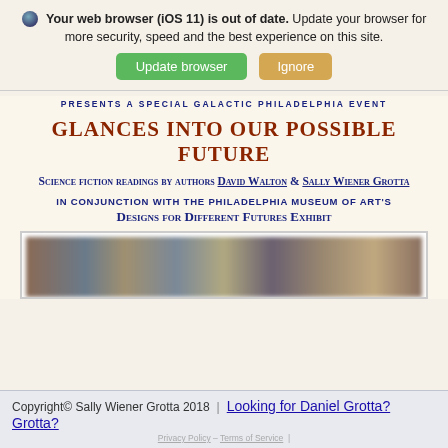Your web browser (iOS 11) is out of date. Update your browser for more security, speed and the best experience on this site.
Update browser | Ignore
PRESENTS A SPECIAL GALACTIC PHILADELPHIA EVENT
GLANCES INTO OUR POSSIBLE FUTURE
Science fiction readings by authors David Walton & Sally Wiener Grotta
in conjunction with the Philadelphia Museum of Art's Designs for Different Futures Exhibit
[Figure (photo): Blurred photograph of a bookstore or library interior with shelves of colorful books, partially blurred figures]
Copyright© Sally Wiener Grotta 2018 | Looking for Daniel Grotta? | Privacy Policy – Terms of Service |